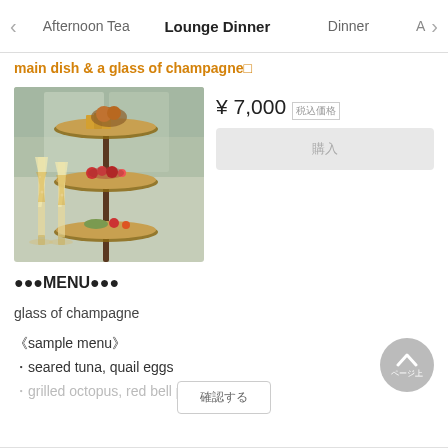Afternoon Tea | Lounge Dinner | Dinner | A
main dish & a glass of champagne□
[Figure (photo): Three-tiered serving stand with assorted food items and two champagne flutes, photographed from slight angle in a lounge setting]
¥7,000 (税込価格)
●●●MENU●●●
glass of champagne
【sample menu】
・seared tuna, quail eggs
・grilled octopus, red bell pepper, herb ricotta cheese